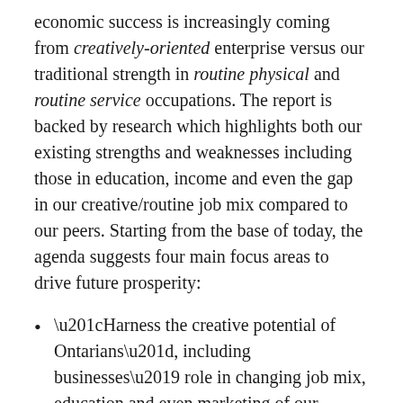economic success is increasingly coming from creatively-oriented enterprise versus our traditional strength in routine physical and routine service occupations. The report is backed by research which highlights both our existing strengths and weaknesses including those in education, income and even the gap in our creative/routine job mix compared to our peers. Starting from the base of today, the agenda suggests four main focus areas to drive future prosperity:
“Harness the creative potential of Ontarians”, including businesses’ role in changing job mix, education and even marketing of our capabilities,
“Broaden our talent base”, focused on significant increases to our post secondary educational levels and broadening managerial capabilities,
“Establish new social safety nets”, including early childhood development, better utilization our key